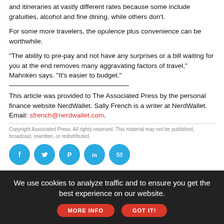and itineraries at vastly different rates because some include gratuities, alcohol and fine dining, while others don't.
For some more travelers, the opulence plus convenience can be worthwhile.
"The ability to pre-pay and not have any surprises or a bill waiting for you at the end removes many aggravating factors of travel," Mahnken says. "It's easier to budget."
This article was provided to The Associated Press by the personal finance website NerdWallet. Sally French is a writer at NerdWallet. Email: sfrench@nerdwallet.com.
Copyright Associated Press. All rights reserved. This material may not be published, broadcast, rewritten, or redistributed.
[Figure (infographic): Row of five social media sharing icons: Facebook, Twitter, Pinterest, LinkedIn, Email — all in blue circular buttons]
We use cookies to analyze traffic and to ensure you get the best experience on our website.
MORE INFO  GOT IT!